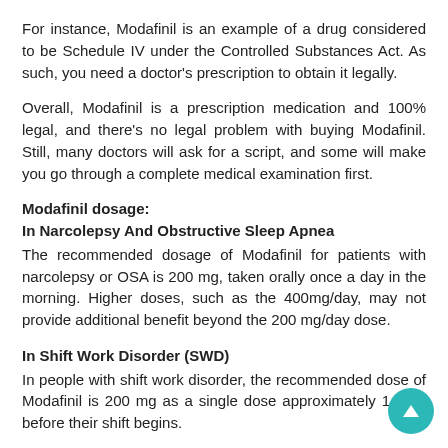For instance, Modafinil is an example of a drug considered to be Schedule IV under the Controlled Substances Act. As such, you need a doctor's prescription to obtain it legally.
Overall, Modafinil is a prescription medication and 100% legal, and there's no legal problem with buying Modafinil. Still, many doctors will ask for a script, and some will make you go through a complete medical examination first.
Modafinil dosage:
In Narcolepsy And Obstructive Sleep Apnea
The recommended dosage of Modafinil for patients with narcolepsy or OSA is 200 mg, taken orally once a day in the morning. Higher doses, such as the 400mg/day, may not provide additional benefit beyond the 200 mg/day dose.
In Shift Work Disorder (SWD)
In people with shift work disorder, the recommended dose of Modafinil is 200 mg as a single dose approximately 1 hour before their shift begins.